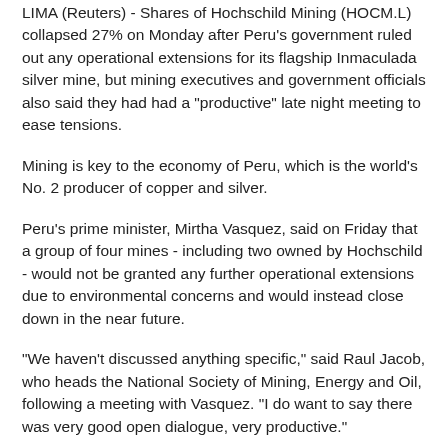LIMA (Reuters) - Shares of Hochschild Mining (HOCM.L) collapsed 27% on Monday after Peru's government ruled out any operational extensions for its flagship Inmaculada silver mine, but mining executives and government officials also said they had had a "productive" late night meeting to ease tensions.
Mining is key to the economy of Peru, which is the world's No. 2 producer of copper and silver.
Peru's prime minister, Mirtha Vasquez, said on Friday that a group of four mines - including two owned by Hochschild - would not be granted any further operational extensions due to environmental concerns and would instead close down in the near future.
"We haven't discussed anything specific," said Raul Jacob, who heads the National Society of Mining, Energy and Oil, following a meeting with Vasquez. "I do want to say there was very good open dialogue, very productive."
Vasquez agreed "dialogue had been very productive."
"We have expressed our will to respect the rule of law (and) private investment," she told reporters.
The original announcement triggered a furious reaction from mining executives over the weekend and caused Hochschild's shares to plummet as much as 57%, before paring losses for a 27% drop, the worst for the London-listed miner.